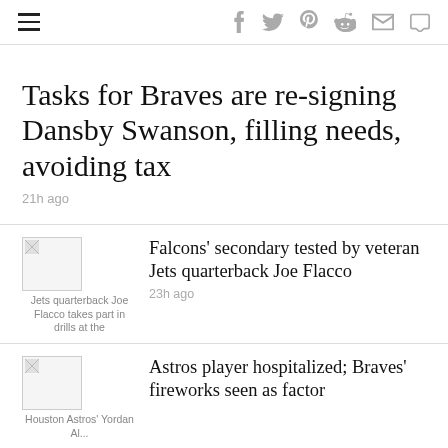Navigation and social share icons: hamburger menu, facebook, twitter, pinterest, reddit, email, comment
Tasks for Braves are re-signing Dansby Swanson, filling needs, avoiding tax
21h ago
Falcons' secondary tested by veteran Jets quarterback Joe Flacco
23h ago
Astros player hospitalized; Braves' fireworks seen as factor